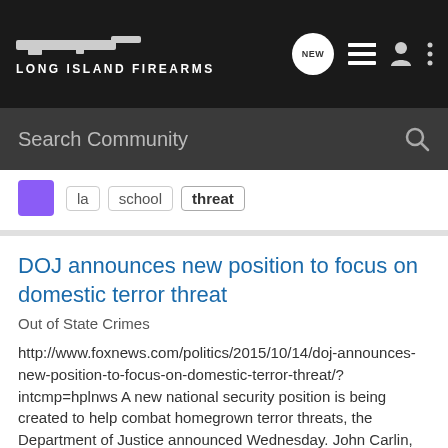Long Island Firearms
Search Community
la  school  threat
DOJ announces new position to focus on domestic terror threat
Out of State Crimes
http://www.foxnews.com/politics/2015/10/14/doj-announces-new-position-to-focus-on-domestic-terror-threat/?intcmp=hplnws A new national security position is being created to help combat homegrown terror threats, the Department of Justice announced Wednesday. John Carlin, head of the...
41  3K
trenchasterbob · Oct 14, 2015